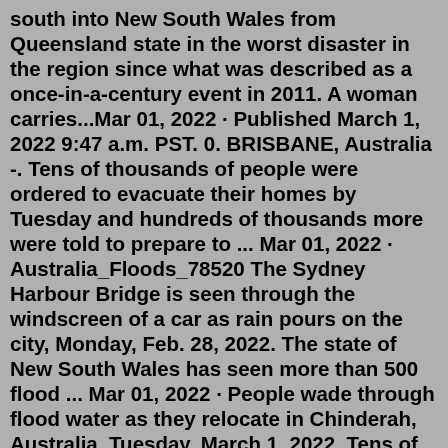south into New South Wales from Queensland state in the worst disaster in the region since what was described as a once-in-a-century event in 2011. A woman carries...Mar 01, 2022 · Published March 1, 2022 9:47 a.m. PST. 0. BRISBANE, Australia -. Tens of thousands of people were ordered to evacuate their homes by Tuesday and hundreds of thousands more were told to prepare to ... Mar 01, 2022 · Australia_Floods_78520 The Sydney Harbour Bridge is seen through the windscreen of a car as rain pours on the city, Monday, Feb. 28, 2022. The state of New South Wales has seen more than 500 flood ... Mar 01, 2022 · People wade through flood water as they relocate in Chinderah, Australia, Tuesday, March 1, 2022. Tens of thousands of people had been ordered to evacuate their… Mar 01, 2022 · The flood waters are moving south into New South Wales from Queensland state in the worst disaster in the region since what was described as a once-in-a-century event in 2011. Mar 01, 2022 · A cricket field is flooded in Yeronga, Brisbane, Australia, Tuesday, March 1, 2022. Tens of